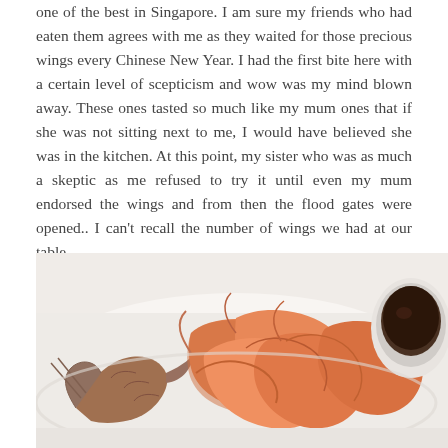one of the best in Singapore. I am sure my friends who had eaten them agrees with me as they waited for those precious wings every Chinese New Year. I had the first bite here with a certain level of scepticism and wow was my mind blown away. These ones tasted so much like my mum ones that if she was not sitting next to me, I would have believed she was in the kitchen. At this point, my sister who was as much a skeptic as me refused to try it until even my mum endorsed the wings and from then the flood gates were opened.. I can't recall the number of wings we had at our table.
[Figure (photo): A plate of cooked prawns/shrimp on a white plate with a small bowl of dark dipping sauce on the right side.]